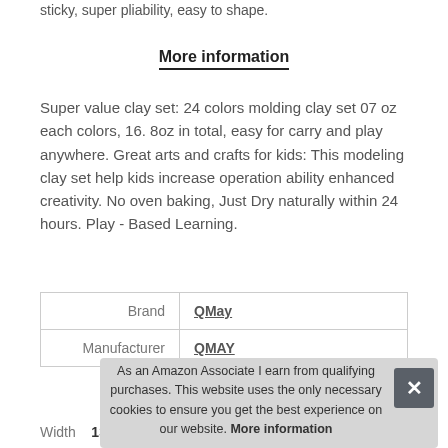sticky, super pliability, easy to shape.
More information
Super value clay set: 24 colors molding clay set 07 oz each colors, 16. 8oz in total, easy for carry and play anywhere. Great arts and crafts for kids: This modeling clay set help kids increase operation ability enhanced creativity. No oven baking, Just Dry naturally within 24 hours. Play - Based Learning.
|  |  |
| --- | --- |
| Brand | QMay |
| Manufacturer | QMAY |
| Width | 13.21 cm (5.2 Inches) |
As an Amazon Associate I earn from qualifying purchases. This website uses the only necessary cookies to ensure you get the best experience on our website. More information